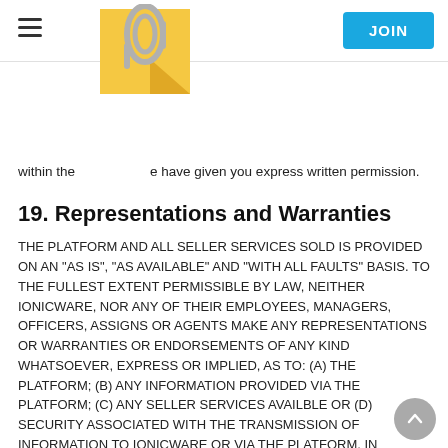JOIN
[Figure (illustration): Yellow sticky note with paper clip logo]
within the ... have given you express written permission.
19. Representations and Warranties
THE PLATFORM AND ALL SELLER SERVICES SOLD IS PROVIDED ON AN "AS IS", "AS AVAILABLE" AND "WITH ALL FAULTS" BASIS. TO THE FULLEST EXTENT PERMISSIBLE BY LAW, NEITHER IONICWARE, NOR ANY OF THEIR EMPLOYEES, MANAGERS, OFFICERS, ASSIGNS OR AGENTS MAKE ANY REPRESENTATIONS OR WARRANTIES OR ENDORSEMENTS OF ANY KIND WHATSOEVER, EXPRESS OR IMPLIED, AS TO: (A) THE PLATFORM; (B) ANY INFORMATION PROVIDED VIA THE PLATFORM; (C) ANY SELLER SERVICES AVAILBLE OR (D) SECURITY ASSOCIATED WITH THE TRANSMISSION OF INFORMATION TO IONICWARE OR VIA THE PLATFORM. IN ADDITION, WE DISCLAIM ALL WARRANTIES, EXPRESS OR IMPLIED, INCLUDING, BUT NOT LIMITED TO, THE WARRANTIES OF MERCHANTABILITY, FITNESS FOR A PARTICULAR